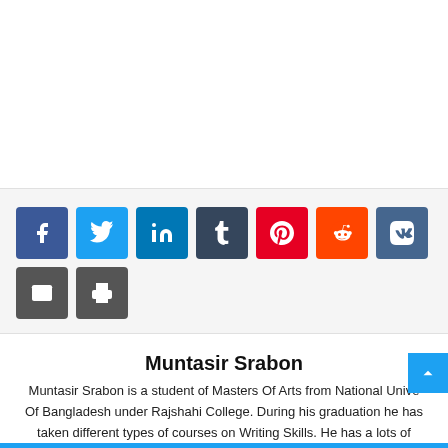[Figure (other): Blank white area (advertisement or image placeholder) at top of page]
[Figure (infographic): Social share buttons row: Facebook (blue), Twitter (light blue), LinkedIn (dark blue), Tumblr (dark navy), Pinterest (red), Reddit (orange), VK (steel blue), Email (dark gray), Print (dark gray)]
Muntasir Srabon
Muntasir Srabon is a student of Masters Of Arts from National University Of Bangladesh under Rajshahi College. During his graduation he has taken different types of courses on Writing Skills. He has a lots of